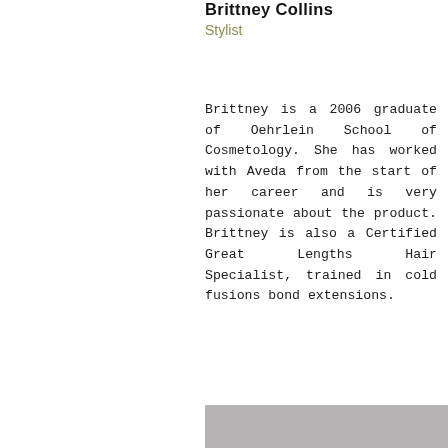Brittney Collins
Stylist
Brittney is a 2006 graduate of Oehrlein School of Cosmetology. She has worked with Aveda from the start of her career and is very passionate about the product. Brittney is also a Certified Great Lengths Hair Specialist, trained in cold fusions bond extensions.
[Figure (photo): Professional photo of Courtney Camp, a woman with long dark hair wearing a black outfit, standing in front of a light background.]
Courtney Camp
Stylist
Courtney is a crazy cat lady who has been doing hair for six years! She graduated from Midwest College of Cosmetology in 2012. Courtney has been with Aveda for the past five